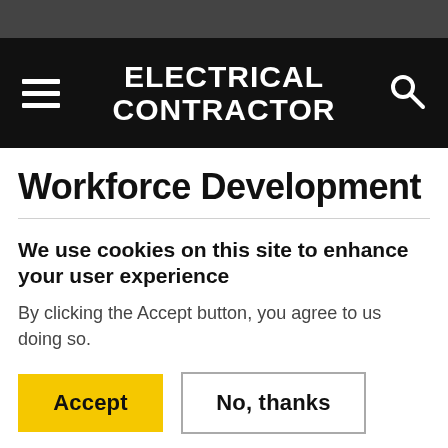ELECTRICAL CONTRACTOR
Workforce Development
We use cookies on this site to enhance your user experience
By clicking the Accept button, you agree to us doing so.
Accept | No, thanks